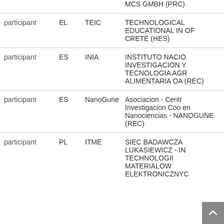| Role | Country | Short name | Organisation |
| --- | --- | --- | --- |
|  |  |  | MCS GMBH (PRC) |
| participant | EL | TEIC | TECHNOLOGICAL EDUCATIONAL IN OF CRETE (HES) |
| participant | ES | INIA | INSTITUTO NACIO INVESTIGACION Y TECNOLOGIA AGR ALIMENTARIA OA (REC) |
| participant | ES | NanoGune | Asociacion - Centr Investigacion Coo en Nanociencias - NANOGUNE (REC) |
| participant | PL | ITME | SIEC BADAWCZA LUKASIEWICZ - IN TECHNOLOGII MATERIALOW ELEKTRONICZNYC |